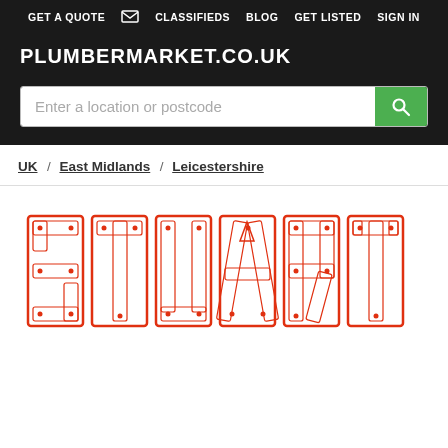GET A QUOTE  CLASSIFIEDS  BLOG  GET LISTED  SIGN IN
PLUMBERMARKET.CO.UK
Enter a location or postcode
UK / East Midlands / Leicestershire
[Figure (logo): STUART plumbing company logo with pipe-styled red lettering spelling out STUART]